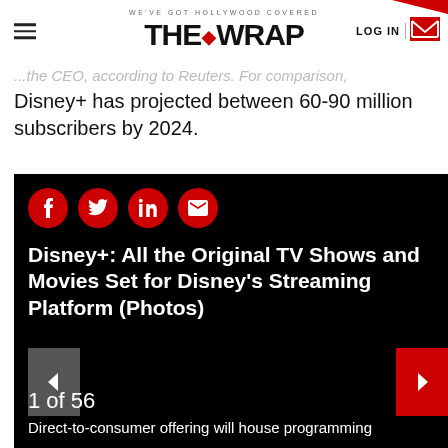WE'VE GOT HOLLYWOOD COVERED — THE WRAP — LOG IN
...the CEO, according to Reuters. For comparison, Disney+ has projected between 60-90 million subscribers by 2024.
[Figure (screenshot): Black card with social share icons (Facebook, Twitter, LinkedIn, Email), article title, navigation arrows, counter '1 of 56', and caption beginning 'Direct-to-consumer offering will house programming']
Disney+: All the Original TV Shows and Movies Set for Disney's Streaming Platform (Photos)
1 of 56
Direct-to-consumer offering will house programming